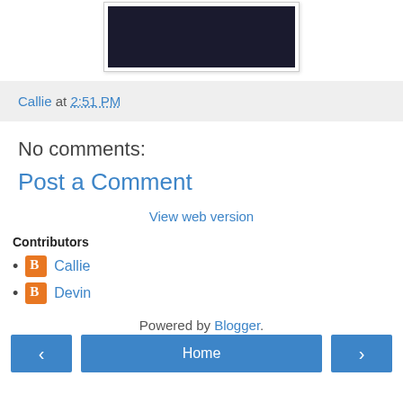[Figure (photo): Dark colored item with circular smiley face patterns]
Callie at 2:51 PM
No comments:
Post a Comment
Home (navigation buttons with left arrow, Home, right arrow)
View web version
Contributors
Callie
Devin
Powered by Blogger.